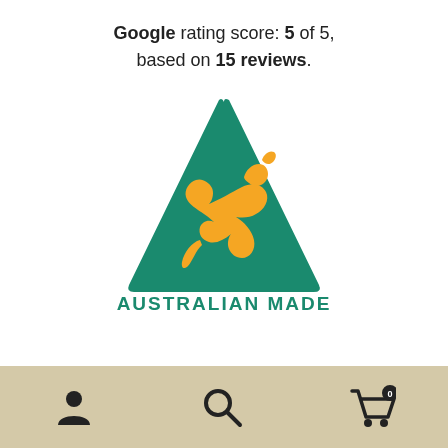Google rating score: 5 of 5, based on 15 reviews.
[Figure (logo): Australian Made logo — green triangle with a yellow kangaroo silhouette inside, text 'AUSTRALIAN MADE' in green below]
[Figure (other): Bottom navigation bar with user/account icon, search icon, and shopping cart icon with badge showing 0]